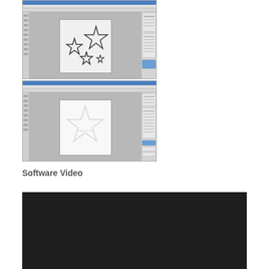[Figure (screenshot): Two stacked software application screenshots. Top screenshot shows a design application with multiple star outlines arranged on a canvas. Bottom screenshot shows the same application with a single large star outline on a white canvas.]
Software Video
[Figure (screenshot): A dark/black video player area, likely an embedded video thumbnail or player showing a dark screen.]